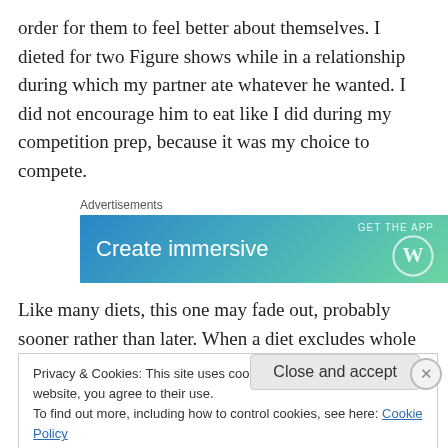order for them to feel better about themselves. I dieted for two Figure shows while in a relationship during which my partner ate whatever he wanted. I did not encourage him to eat like I did during my competition prep, because it was my choice to compete.
[Figure (screenshot): WordPress advertisement banner with gradient blue-green background showing 'Create immersive' text and WordPress logo with 'GET THE APP' text]
Like many diets, this one may fade out, probably sooner rather than later. When a diet excludes whole food groups
Privacy & Cookies: This site uses cookies. By continuing to use this website, you agree to their use.
To find out more, including how to control cookies, see here: Cookie Policy
Close and accept